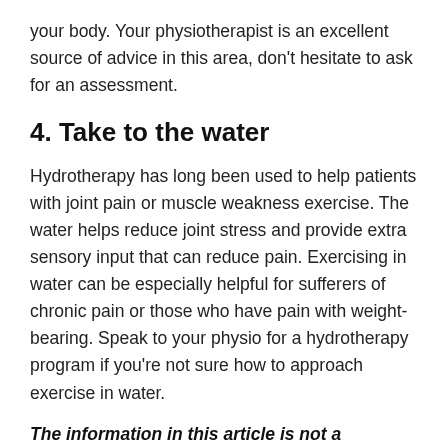your body. Your physiotherapist is an excellent source of advice in this area, don't hesitate to ask for an assessment.
4. Take to the water
Hydrotherapy has long been used to help patients with joint pain or muscle weakness exercise. The water helps reduce joint stress and provide extra sensory input that can reduce pain. Exercising in water can be especially helpful for sufferers of chronic pain or those who have pain with weight-bearing. Speak to your physio for a hydrotherapy program if you're not sure how to approach exercise in water.
The information in this article is not a replacement for proper medical advice. Our physiotherapists are